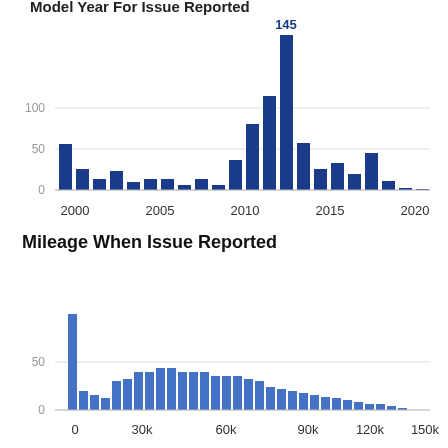[Figure (bar-chart): Model Year For Issue Reported]
Mileage When Issue Reported
[Figure (bar-chart): Mileage When Issue Reported]